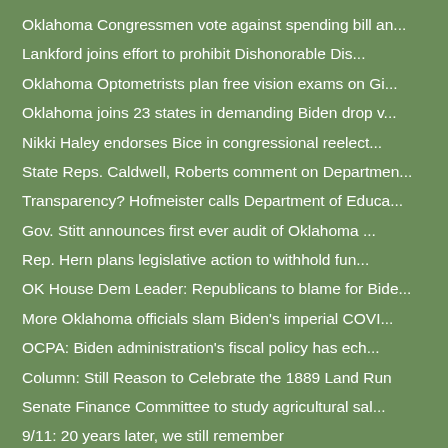Oklahoma Congressmen vote against spending bill an...
Lankford joins effort to prohibit Dishonorable Dis...
Oklahoma Optometrists plan free vision exams on Gi...
Oklahoma joins 23 states in demanding Biden drop v...
Nikki Haley endorses Bice in congressional reelect...
State Reps. Caldwell, Roberts comment on Departmen...
Transparency? Hofmeister calls Department of Educa...
Gov. Stitt announces first ever audit of Oklahoma ...
Rep. Hern plans legislative action to withhold fun...
OK House Dem Leader: Republicans to blame for Bide...
More Oklahoma officials slam Biden's imperial COVI...
OCPA: Biden administration's fiscal policy has ech...
Column: Still Reason to Celebrate the 1889 Land Run
Senate Finance Committee to study agricultural sal...
9/11: 20 years later, we still remember
State Reps file bipartisan Data Privacy Act of 2022
Top Oklahoma officials blast Biden's imperial COVI...